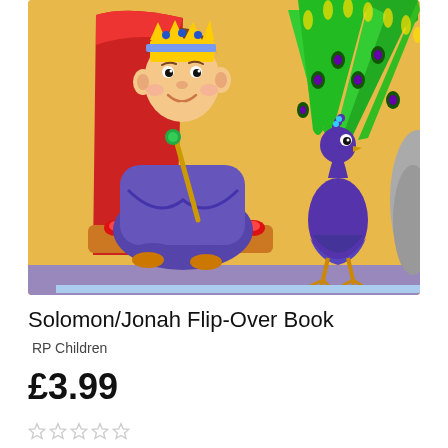[Figure (illustration): Children's book cover illustration showing a cartoon boy king sitting on a red throne, wearing a gold crown and blue/purple robe, holding a scepter, with a purple peacock standing to his right and a green peacock tail feather display behind it. The background shows colorful cartoon elements including a treasure chest on the left.]
Solomon/Jonah Flip-Over Book
RP Children
£3.99
[Figure (other): Five empty star rating icons]